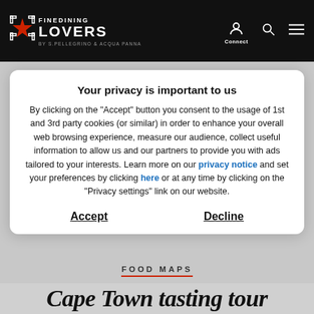[Figure (logo): Fine Dining Lovers logo with red star, white text on black background, BY S.PELLEGRINO & ACQUA PANNA tagline]
Your privacy is important to us
By clicking on the "Accept" button you consent to the usage of 1st and 3rd party cookies (or similar) in order to enhance your overall web browsing experience, measure our audience, collect useful information to allow us and our partners to provide you with ads tailored to your interests. Learn more on our privacy notice and set your preferences by clicking here or at any time by clicking on the "Privacy settings" link on our website.
Accept
Decline
FOOD MAPS
Cape Town tasting tour